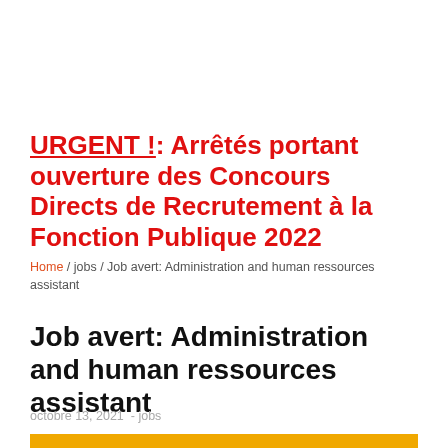URGENT !: Arrêtés portant ouverture des Concours Directs de Recrutement à la Fonction Publique 2022
Home / jobs / Job avert: Administration and human ressources assistant
Job avert: Administration and human ressources assistant
octobre 13, 2021  -  jobs